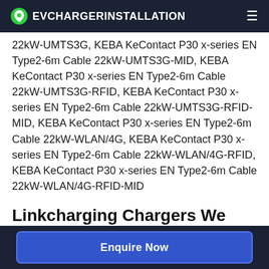EVCHARGERINSTALLATION
22kW-UMTS3G, KEBA KeContact P30 x-series EN Type2-6m Cable 22kW-UMTS3G-MID, KEBA KeContact P30 x-series EN Type2-6m Cable 22kW-UMTS3G-RFID, KEBA KeContact P30 x-series EN Type2-6m Cable 22kW-UMTS3G-RFID-MID, KEBA KeContact P30 x-series EN Type2-6m Cable 22kW-WLAN/4G, KEBA KeContact P30 x-series EN Type2-6m Cable 22kW-WLAN/4G-RFID, KEBA KeContact P30 x-series EN Type2-6m Cable 22kW-WLAN/4G-RFID-MID
Linkcharging Chargers We Offer
Enquire Now